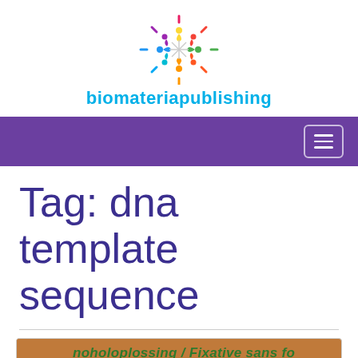[Figure (logo): Biomateria Publishing logo — colorful starburst/people icon above cyan text 'biomateriapublishing']
[Figure (other): Purple navigation bar with hamburger menu icon on the right]
Tag: dna template sequence
[Figure (photo): Partial photo of a bottle label showing text: 'noholoplossing / Fixative sans fo', 'Gebruiksklaar / Solution aqueux-alco']